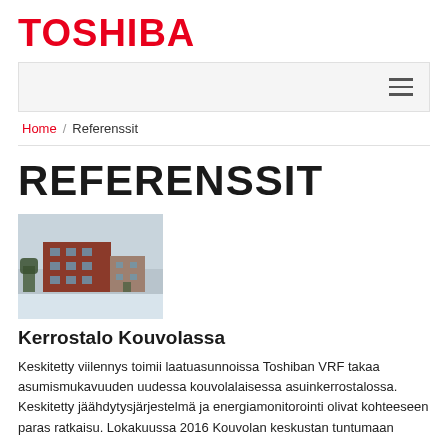TOSHIBA
[Figure (screenshot): Navigation bar with hamburger menu icon on the right]
Home / Referenssit
REFERENSSIT
[Figure (photo): Aerial winter photo of a brick apartment building in Kouvola surrounded by snow]
Kerrostalo Kouvolassa
Keskitetty viilennys toimii laatuasunnoissa Toshiban VRF takaa asumismukavuuden uudessa kouvolalaisessa asuinkerrostalossa. Keskitetty jäähdytysjärjestelmä ja energiamonitorointi olivat kohteeseen paras ratkaisu. Lokakuussa 2016 Kouvolan keskustan tuntumaan